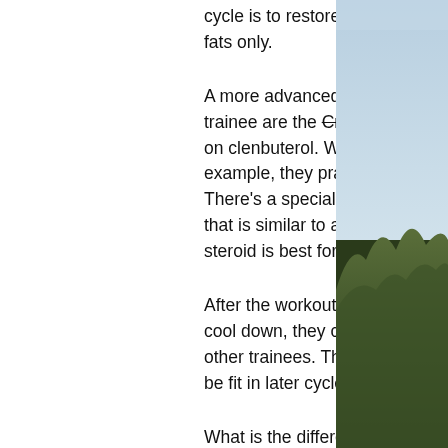cycle is to restore the lean mass while reducing the fats only.
A more advanced cuttings technique for an advanced trainee are the Cross Training to Cut, losing weight on clenbuterol. While cutting with a partner for example, they practice lifting the heavy weights. There's a special drill to learn how to perform the cuts that is similar to a gymnastics drill, which anabolic steroid is best for cutting.
After the workout is over and there is some time to cool down, they can try a cross training routine with other trainees. This will keep them fit and help them be fit in later cycles too.
What is the difference between the Cross Training to Cut and other workouts, diet to lose weight while on prednisone?
[Figure (photo): Outdoor photo showing sky and vegetation/bushes on the right side of the page]